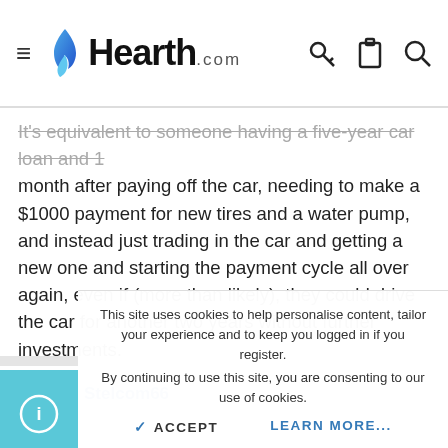Hearth.com
It's equivalent to someone having a five-year car loan and 1 month after paying off the car, needing to make a $1000 payment for new tires and a water pump, and instead just trading in the car and getting a new one and starting the payment cycle all over again, even if (more than likely), they could drive the car for another two years without further investments.
Stelcom66
This site uses cookies to help personalise content, tailor your experience and to keep you logged in if you register. By continuing to use this site, you are consenting to our use of cookies.